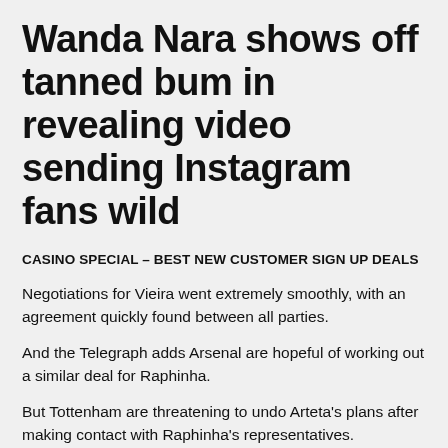Wanda Nara shows off tanned bum in revealing video sending Instagram fans wild
CASINO SPECIAL – BEST NEW CUSTOMER SIGN UP DEALS
Negotiations for Vieira went extremely smoothly, with an agreement quickly found between all parties.
And the Telegraph adds Arsenal are hopeful of working out a similar deal for Raphinha.
But Tottenham are threatening to undo Arteta's plans after making contact with Raphinha's representatives.
Arsenal's north London rivals will be playing Champions